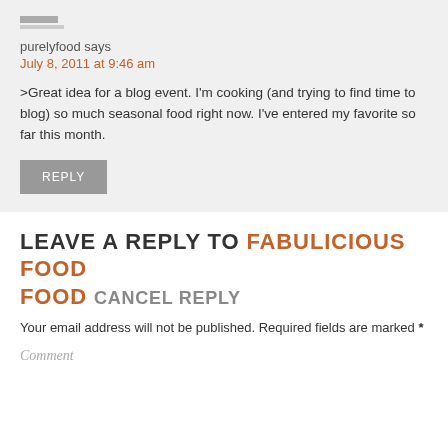purelyfood says
July 8, 2011 at 9:46 am
>Great idea for a blog event. I'm cooking (and trying to find time to blog) so much seasonal food right now. I've entered my favorite so far this month.
REPLY
LEAVE A REPLY TO FABULICIOUS FOOD CANCEL REPLY
Your email address will not be published. Required fields are marked *
Comment